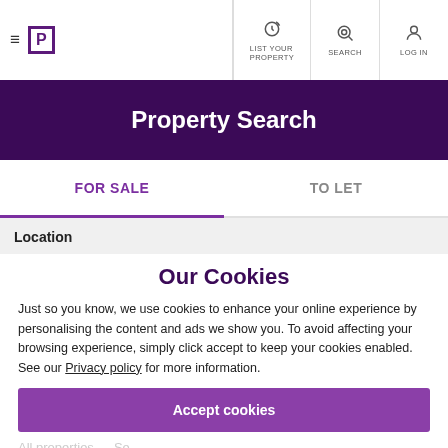≡ [P] LIST YOUR PROPERTY  SEARCH  LOG IN
Property Search
FOR SALE   TO LET
Location
Our Cookies
Just so you know, we use cookies to enhance your online experience by personalising the content and ads we show you. To avoid affecting your browsing experience, simply click accept to keep your cookies enabled. See our Privacy policy for more information.
Accept cookies
All properties
Manage my settings